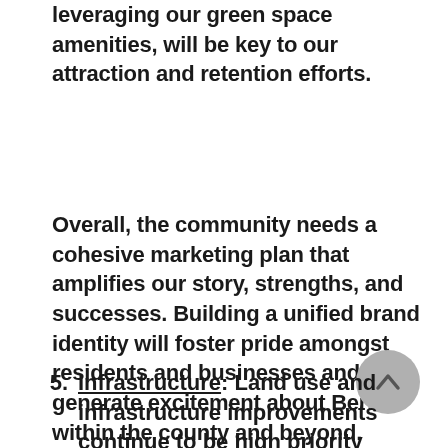leveraging our green space amenities, will be key to our attraction and retention efforts.
Overall, the community needs a cohesive marketing plan that amplifies our story, strengths, and successes. Building a unified brand identity will foster pride amongst residents and businesses and generate excitement about Berks within the county and beyond.
5. Infrastructure: Land use and infrastructure improvements continue to be high priority topics for Berks County and its residents and businesses.